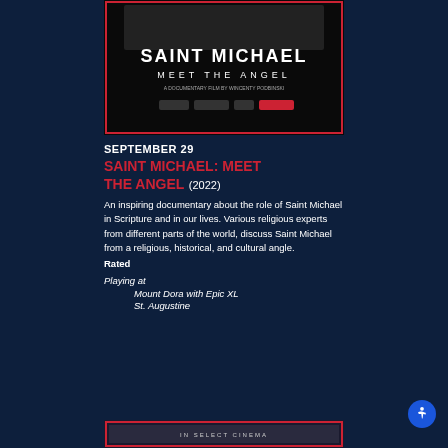[Figure (photo): Movie poster for Saint Michael: Meet the Angel documentary film by Wincenty Podbinski, dark background with large white title text and logos]
SEPTEMBER 29
SAINT MICHAEL: MEET THE ANGEL (2022)
An inspiring documentary about the role of Saint Michael in Scripture and in our lives. Various religious experts from different parts of the world, discuss Saint Michael from a religious, historical, and cultural angle.
Rated
Playing at
Mount Dora with Epic XL
St. Augustine
[Figure (photo): Bottom banner image for another film showing in select cinemas]